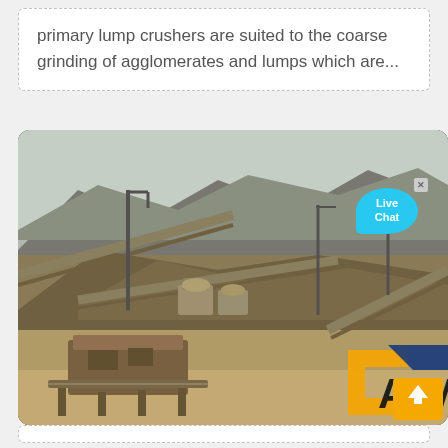primary lump crushers are suited to the coarse grinding of agglomerates and lumps which are...
[Figure (photo): Industrial quarry or mining site with conveyor belts, crushing machinery, and stockpiles of aggregate material, with mountains in the background. A 'Live Chat' speech bubble overlay and a company logo overlay (orange and blue 'A' mark) are visible in the bottom-right corner, along with a scroll-to-top button.]